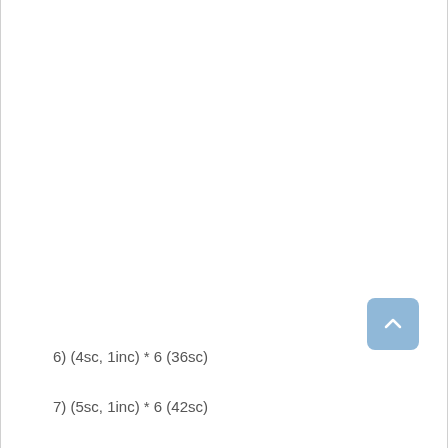6) (4sc, 1inc) * 6 (36sc)
7) (5sc, 1inc) * 6 (42sc)